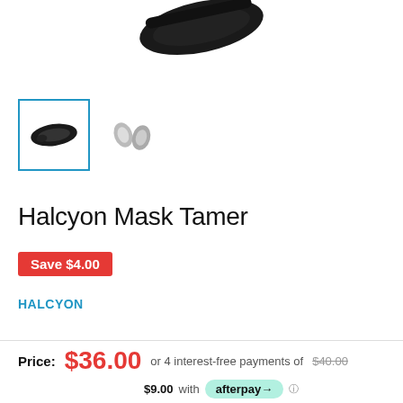[Figure (photo): Top portion of a product image showing a black Halcyon Mask Tamer device against white background]
[Figure (photo): Thumbnail row: first thumbnail (selected, blue border) shows black mask tamer band; second thumbnail shows silver metal clips]
Halcyon Mask Tamer
Save $4.00
HALCYON
Price: $36.00 or 4 interest-free payments of $40.00 $9.00 with afterpay>